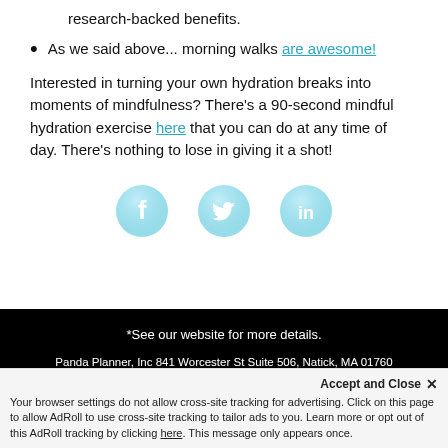research-backed benefits.
As we said above... morning walks are awesome!
Interested in turning your own hydration breaks into moments of mindfulness? There's a 90-second mindful hydration exercise here that you can do at any time of day. There's nothing to lose in giving it a shot!
[Figure (illustration): Three social media icons: Facebook (f), Twitter (bird), LinkedIn (in), styled as blue glassy circles]
*See our website for more details.
Panda Planner, Inc 841 Worcester St Suite 506, Natick, MA 01760
Copyright © 2020 Panda Planner. All rights reserved.
Accept and Close ×
Your browser settings do not allow cross-site tracking for advertising. Click on this page to allow AdRoll to use cross-site tracking to tailor ads to you. Learn more or opt out of this AdRoll tracking by clicking here. This message only appears once.